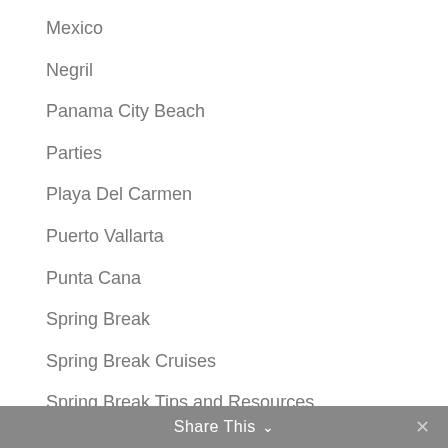Mexico
Negril
Panama City Beach
Parties
Playa Del Carmen
Puerto Vallarta
Punta Cana
Spring Break
Spring Break Cruises
Spring Break Tips and Resources
VIP Party Package
Share This ∨ ✕